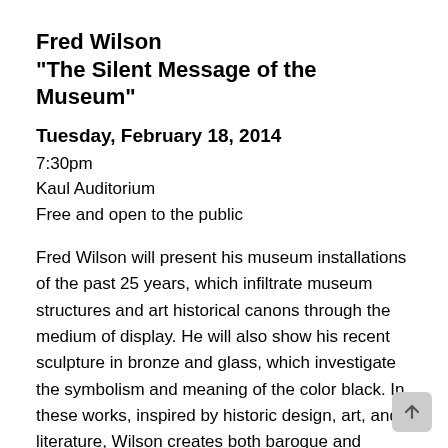Fred Wilson
"The Silent Message of the Museum"
Tuesday, February 18, 2014
7:30pm
Kaul Auditorium
Free and open to the public
Fred Wilson will present his museum installations of the past 25 years, which infiltrate museum structures and art historical canons through the medium of display. He will also show his recent sculpture in bronze and glass, which investigate the symbolism and meaning of the color black. In these works, inspired by historic design, art, and literature, Wilson creates both baroque and simple forms that speak to contemporary times.
Fred Wilson is a conceptual artist whose work explores